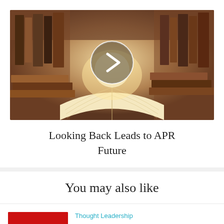[Figure (photo): Photo of an open book surrounded by stacks of books in a library, with a warm glowing light in the background. A circular play button icon is overlaid in the center.]
Looking Back Leads to APR Future
You may also like
[Figure (photo): Thumbnail image with red background and white hexagonal pattern shapes.]
Thought Leadership
For Sensitive Subject of Job Losses, CEOs Need Sound...